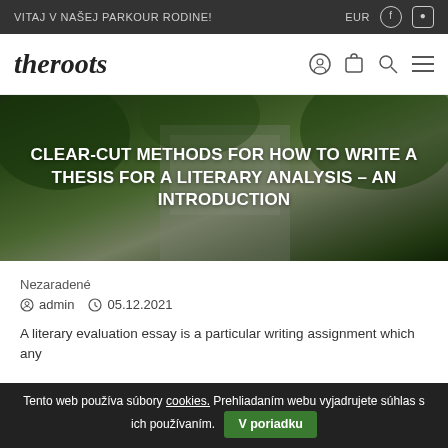VITAJ V NAŠEJ PARKOUR RODINE! | EUR
[Figure (logo): The Roots logo with stylized italic text 'theroots' and navigation icons]
[Figure (photo): Hero image of a building with trees, dark overlay with white text]
CLEAR-CUT METHODS FOR HOW TO WRITE A THESIS FOR A LITERARY ANALYSIS – AN INTRODUCTION
Nezaradené
admin   05.12.2021
A literary evaluation essay is a particular writing assignment which any
Tento web používa súbory cookies. Prehliadaním webu vyjadrujete súhlas s ich používaním. V poriadku